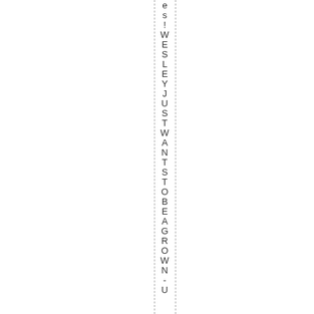es!WESLEYJUSTWANTSTOBEAGROWN-U